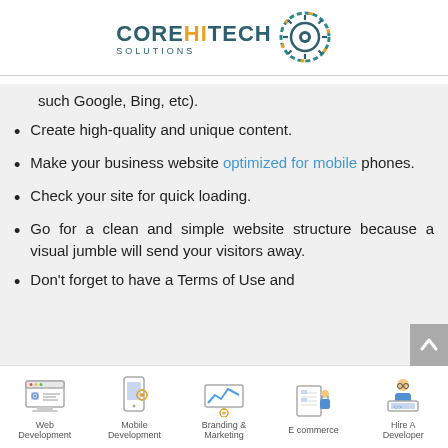[Figure (logo): CoreHiTech Solutions logo with gear/circuit motif]
such Google, Bing, etc).
Create high-quality and unique content.
Make your business website optimized for mobile phones.
Check your site for quick loading.
Go for a clean and simple website structure because a visual jumble will send your visitors away.
Don't forget to have a Terms of Use and
[Figure (infographic): Footer navigation bar with icons: Web Development, Mobile Development, Branding & Marketing, E commerce, Hire A Developer]